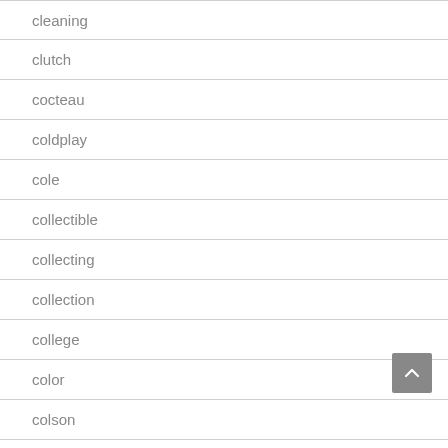cleaning
clutch
cocteau
coldplay
cole
collectible
collecting
collection
college
color
colson